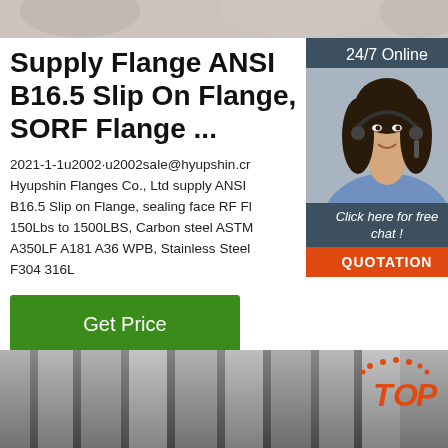[Figure (photo): Top banner image, partially visible, showing food/product items]
Supply Flange ANSI B16.5 Slip On Flange, SORF Flange ...
2021-1-1u2002·u2002sale@hyupshin.cr Hyupshin Flanges Co., Ltd supply ANSI B16.5 Slip on Flange, sealing face RF Fl 150Lbs to 1500LBS, Carbon steel ASTM A350LF A181 A36 WPB, Stainless Steel F304 316L
[Figure (photo): Chat widget with woman wearing headset, 24/7 Online label, Click here for free chat, QUOTATION button]
[Figure (other): Get Price green button]
[Figure (photo): Bottom image of steel/metal pipes or rods in grayscale, with orange TOP badge in bottom right]